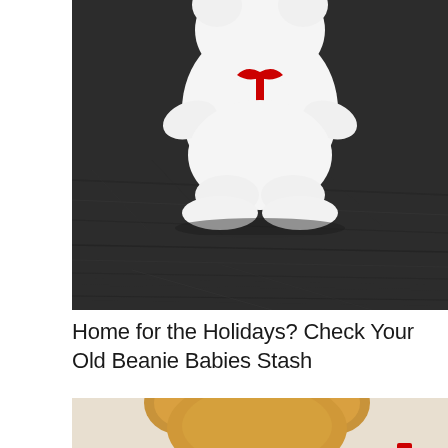[Figure (photo): A white Beanie Baby stuffed bear with a red ribbon/bow around its neck, sitting on a dark wood grain surface. The bear is viewed from the front, showing its body, two front legs, and two bottom feet. The background is a dark grey-brown wood floor.]
Home for the Holidays? Check Your Old Beanie Babies Stash
[Figure (photo): Partial view of a golden/tan colored Beanie Baby stuffed animal (appears to be a bear or similar creature), showing only the top portion — ears and upper body visible. The plush has orange-gold fur texture. A small red element (likely a tag or ribbon) is partially visible at the bottom right of the image.]